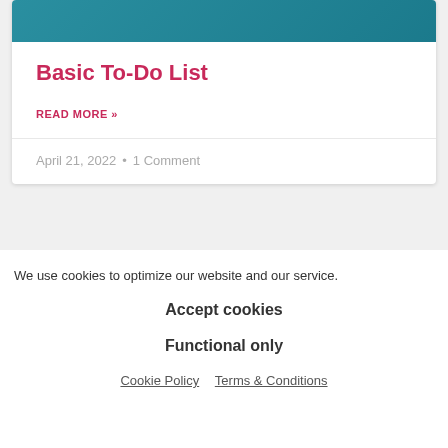[Figure (other): Teal/dark blue header image banner at top of card]
Basic To-Do List
READ MORE »
April 21, 2022  •  1 Comment
We use cookies to optimize our website and our service.
Accept cookies
Functional only
Cookie Policy   Terms & Conditions